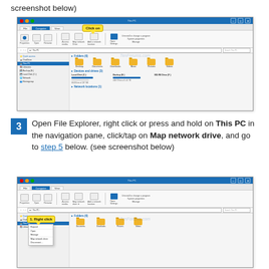screenshot below)
[Figure (screenshot): Windows 10 File Explorer showing This PC with folders (Desktop, Documents, Downloads, Music, Pictures, Videos) and Devices and drives (Local Disk C:, Backup E:, BD-RE Drive F:) and Network locations. A yellow callout bubble says 'Click on'.]
3  Open File Explorer, right click or press and hold on This PC in the navigation pane, click/tap on Map network drive, and go to step 5 below. (see screenshot below)
[Figure (screenshot): Windows 10 File Explorer showing This PC with a yellow callout bubble saying '1. Right click' appearing over the navigation pane near This PC entry. A context menu is visible.]